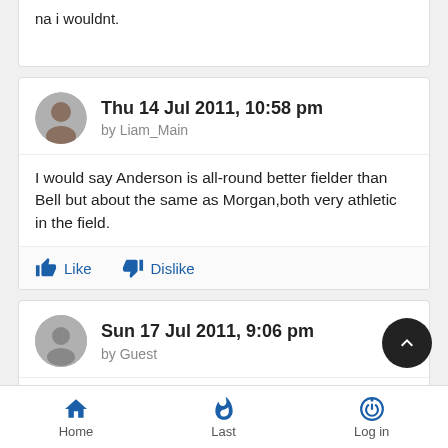na i wouldnt.
Thu 14 Jul 2011, 10:58 pm
by Liam_Main
I would say Anderson is all-round better fielder than Bell but about the same as Morgan,both very athletic in the field.
Like   Dislike
Sun 17 Jul 2011, 9:06 pm
by Guest
not sure about bell, at short leg he and cook are quality..
Home   Last   Log in